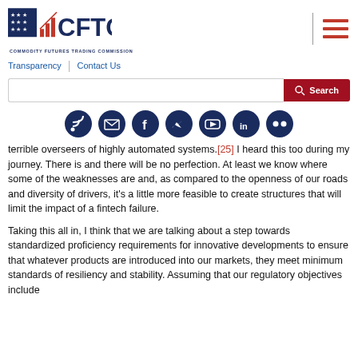[Figure (logo): CFTC - Commodity Futures Trading Commission logo with stars and bar chart icon]
Transparency | Contact Us
Search bar
[Figure (infographic): Social media icons: RSS, Email, Facebook, Twitter, YouTube, LinkedIn, Flickr]
terrible overseers of highly automated systems.[25]  I heard this too during my journey.  There is and there will be no perfection.  At least we know where some of the weaknesses are and, as compared to the openness of our roads and diversity of drivers, it's a little more feasible to create structures that will limit the impact of a fintech failure.
Taking this all in, I think that we are talking about a step towards standardized proficiency requirements for innovative developments to ensure that whatever products are introduced into our markets, they meet minimum standards of resiliency and stability.  Assuming that our regulatory objectives include